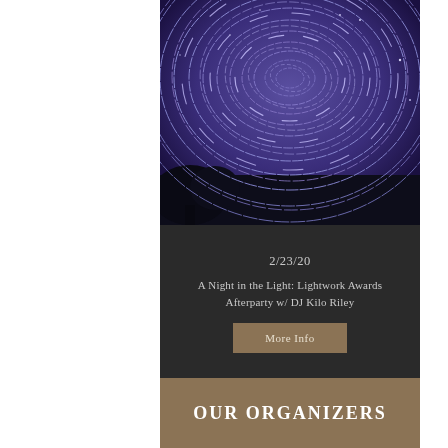[Figure (photo): Night sky star trails photo showing concentric circular star trails against a deep blue-purple sky with dark tree silhouettes at the bottom]
2/23/20
A Night in the Light: Lightwork Awards Afterparty w/ DJ Kilo Riley
More Info
OUR ORGANIZERS